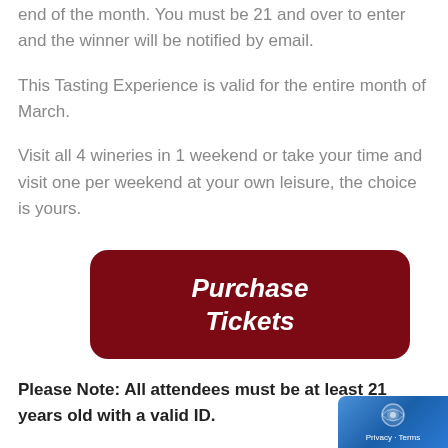end of the month. You must be 21 and over to enter and the winner will be notified by email.
This Tasting Experience is valid for the entire month of March.
Visit all 4 wineries in 1 weekend or take your time and visit one per weekend at your own leisure, the choice is yours.
[Figure (other): Dark red rounded button with italic bold white text reading 'Purchase Tickets']
Please Note: All attendees must be at least 21 years old with a valid ID.
Please remember to always drink responsibly!
Week 1 The Royal Rabbit Wine Experience: March 5 and 6
Wines: Marquise Chatelaine, Baroness, Duke Barone, Ro... Frost Viscount
Featured Cheese: Goot Essa Weiss Casa: you too will be